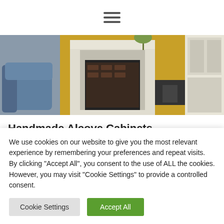[Figure (other): Hamburger menu icon (three horizontal lines) in navigation bar]
[Figure (photo): Interior room photo showing a living room with a blue sofa, yellow walls, white fireplace surround with brick fireplace, and white built-in cabinets]
Handmade Alcove Cabinets
We can make Alcove Units, Bookcases, TV Stands or any type
We use cookies on our website to give you the most relevant experience by remembering your preferences and repeat visits. By clicking "Accept All", you consent to the use of ALL the cookies. However, you may visit "Cookie Settings" to provide a controlled consent.